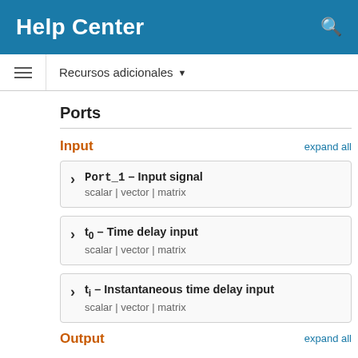Help Center
Recursos adicionales
Ports
Input
expand all
Port_1 — Input signal
scalar | vector | matrix
t₀ — Time delay input
scalar | vector | matrix
tᵢ — Instantaneous time delay input
scalar | vector | matrix
Output
expand all